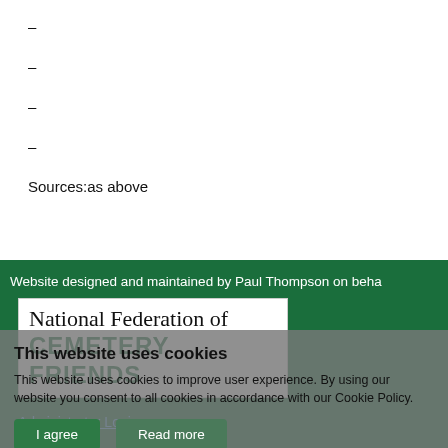-
-
-
-
Sources:as above
Website designed and maintained by Paul Thompson on beha
[Figure (logo): National Federation of CEMETERY FRIENDS logo — white box with serif text 'National Federation of' above bold green 'CEMETERY FRIENDS']
Administrator Login
This website uses cookies
This website uses cookies to improve user experience. By using our website you consent to all cookies in accordance with our Cookie Policy.
I agree   Read more
Free cookie consent by cookie-script.com